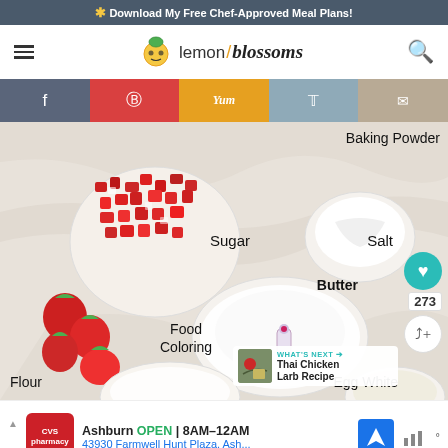* Download My Free Chef-Approved Meal Plans!
[Figure (logo): Lemon Blossoms website header with hamburger menu, lemon blossoms logo, and search icon]
[Figure (infographic): Social sharing bar with Facebook, Pinterest, Yummly, Twitter, and Email buttons]
[Figure (photo): Overhead photo of strawberry shortcake ingredients on marble surface: chopped strawberries in bowl, sugar in bowl, baking powder in small bowl, salt label, butter stick, food coloring bottle, partial views of flour and egg white bowls. Labels: Baking Powder, Sugar, Salt, Butter, Food Coloring, Flour, Egg White. Heart and share buttons at right. Count badge 273. What's Next: Thai Chicken Larb Recipe]
Ashburn OPEN 8AM–12AM 43930 Farmwell Hunt Plaza, Ash... CVS Pharmacy